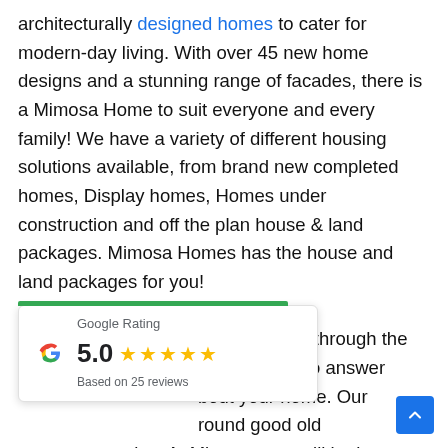architecturally designed homes to cater for modern-day living. With over 45 new home designs and a stunning range of facades, there is a Mimosa Home to suit everyone and every family! We have a variety of different housing solutions available, from brand new completed homes, Display homes, Homes under construction and off the plan house & land packages. Mimosa Homes has the house and land packages for you!

Our trained staff will hold your hand through the [partially obscured] e accessible to answer [partially obscured] bout your home. Our [partially obscured] round good old customer service. At Mimosa, you will be known by
[Figure (other): Google Rating widget showing 5.0 stars based on 25 reviews, with a green bar at top and the Google 'G' logo.]